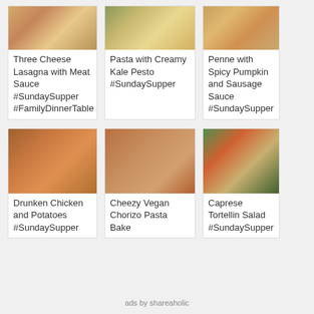[Figure (photo): Food photo of Three Cheese Lasagna with Meat Sauce]
Three Cheese Lasagna with Meat Sauce #SundaySupper #FamilyDinnerTable
[Figure (photo): Food photo of Pasta with Creamy Kale Pesto]
Pasta with Creamy Kale Pesto #SundaySupper
[Figure (photo): Food photo of Penne with Spicy Pumpkin and Sausage Sauce]
Penne with Spicy Pumpkin and Sausage Sauce #SundaySupper
[Figure (photo): Food photo of Drunken Chicken and Potatoes]
Drunken Chicken and Potatoes #SundaySupper
[Figure (photo): Food photo of Cheezy Vegan Chorizo Pasta Bake]
Cheezy Vegan Chorizo Pasta Bake
[Figure (photo): Food photo of Caprese Tortellini Salad]
Caprese Tortellini Salad #SundaySupper
ads by shareaholic